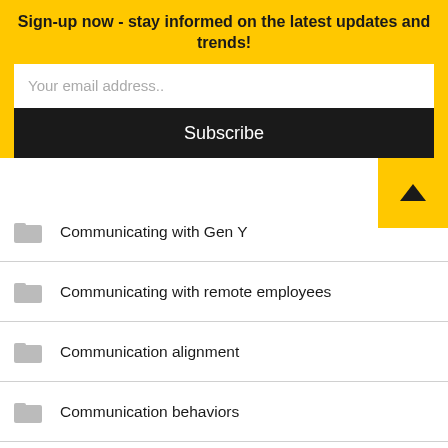Sign-up now - stay informed on the latest updates and trends!
Your email address..
Subscribe
Communicating with Gen Y
Communicating with remote employees
Communication alignment
Communication behaviors
Communication Channels
Communication Content
Communication Design